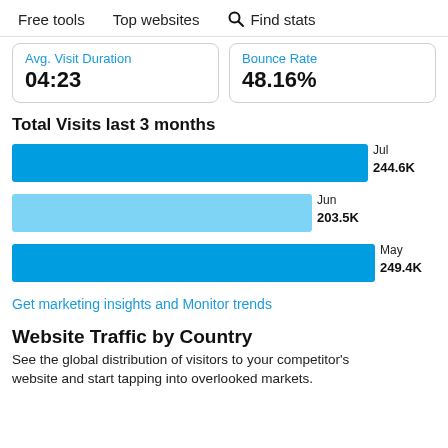Free tools  Top websites  Find stats
Avg. Visit Duration
04:23
Bounce Rate
48.16%
Total Visits last 3 months
[Figure (bar-chart): Total Visits last 3 months]
Get marketing insights and Monitor trends
Website Traffic by Country
See the global distribution of visitors to your competitor's website and start tapping into overlooked markets.